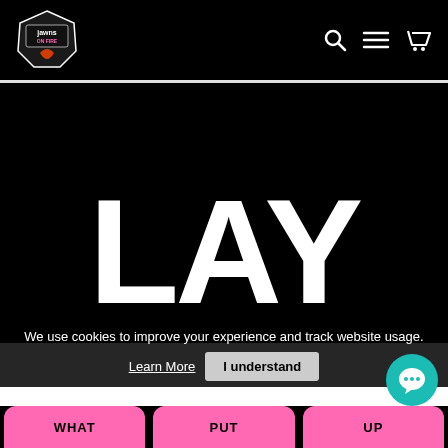jawns ON FIRE (logo) — navigation with search, menu, and cart icons
[Figure (screenshot): Large black background with bold white text 'LAY' in massive uppercase letters, followed by 'AWAY' in wide-spaced uppercase letters below, forming a 'LAY AWAY' layaway program promotional image]
We use cookies to improve your experience and track website usage.
Learn More  |  I understand
WHAT  PUT  UP